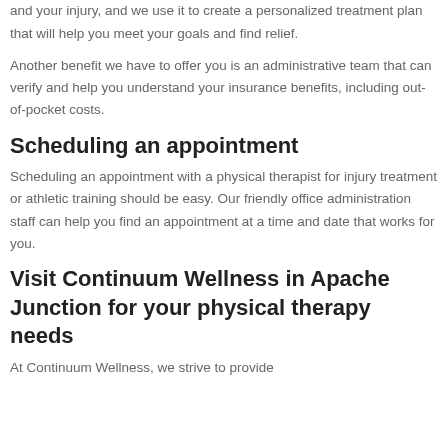When creating your treatment plan, we take what we know about you and your injury, and we use it to create a personalized treatment plan that will help you meet your goals and find relief.
Another benefit we have to offer you is an administrative team that can verify and help you understand your insurance benefits, including out-of-pocket costs.
Scheduling an appointment
Scheduling an appointment with a physical therapist for injury treatment or athletic training should be easy. Our friendly office administration staff can help you find an appointment at a time and date that works for you.
Visit Continuum Wellness in Apache Junction for your physical therapy needs
At Continuum Wellness, we strive to provide